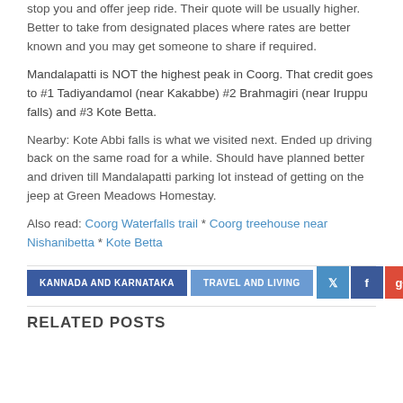stop you and offer jeep ride. Their quote will be usually higher. Better to take from designated places where rates are better known and you may get someone to share if required.
Mandalapatti is NOT the highest peak in Coorg. That credit goes to #1 Tadiyandamol (near Kakabbe) #2 Brahmagiri (near Iruppu falls) and #3 Kote Betta.
Nearby: Kote Abbi falls is what we visited next. Ended up driving back on the same road for a while. Should have planned better and driven till Mandalapatti parking lot instead of getting on the jeep at Green Meadows Homestay.
Also read: Coorg Waterfalls trail * Coorg treehouse near Nishanibetta * Kote Betta
KANNADA AND KARNATAKA
TRAVEL AND LIVING
RELATED POSTS